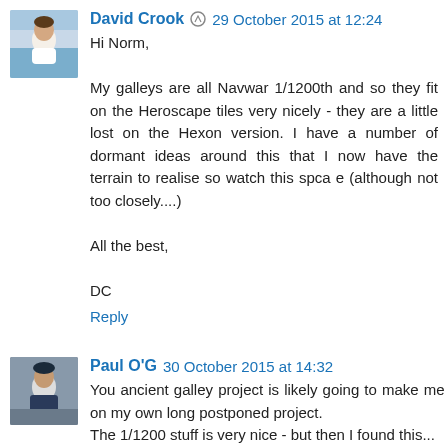[Figure (photo): Avatar photo of David Crook - man in white shirt]
David Crook 29 October 2015 at 12:24
Hi Norm,

My galleys are all Navwar 1/1200th and so they fit on the Heroscape tiles very nicely - they are a little lost on the Hexon version. I have a number of dormant ideas around this that I now have the terrain to realise so watch this spca e (although not too closely....)

All the best,

DC
Reply
[Figure (photo): Avatar photo of Paul O'G - man in dark clothing]
Paul O'G 30 October 2015 at 14:32
You ancient galley project is likely going to make me cave on my own long postponed project.
The 1/1200 stuff is very nice - but then I found this...

http://olicanalad.blogspot.com/search/label/Naval%20Warg